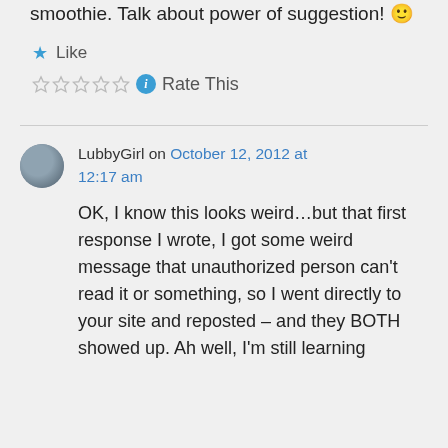smoothie. Talk about power of suggestion! 🙂
★ Like
☆☆☆☆☆ ℹ Rate This
LubbyGirl on October 12, 2012 at 12:17 am
OK, I know this looks weird…but that first response I wrote, I got some weird message that unauthorized person can't read it or something, so I went directly to your site and reposted – and they BOTH showed up. Ah well, I'm still learning